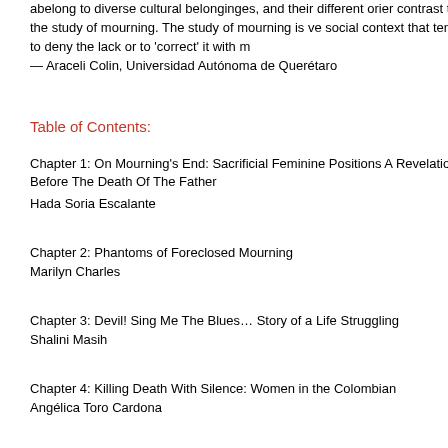abelong to diverse cultural belonginges, and their different orier contrast toin the study of mourning. The study of mourning is ve social context that tends to deny the lack or to 'correct' it with m — Araceli Colin, Universidad Autónoma de Querétaro
Table of Contents:
Chapter 1: On Mourning's End: Sacrificial Feminine Positions A Revelation Before The Death Of The Father
Hada Soria Escalante
Chapter 2: Phantoms of Foreclosed Mourning
Marilyn Charles
Chapter 3: Devil! Sing Me The Blues… Story of a Life Struggling
Shalini Masih
Chapter 4: Killing Death With Silence: Women in the Colombian
Angélica Toro Cardona
Chapter 5: On the Construction of Maternity
Paola J. González Castro